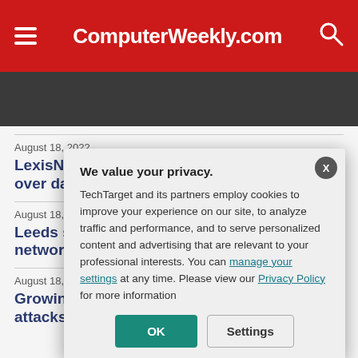ComputerWeekly.com
August 18, 2022
LexisNexis ... over data p...
August 18, 202...
Leeds sign... network cu...
August 18, 202...
Growing M... attacks
We value your privacy. TechTarget and its partners employ cookies to improve your experience on our site, to analyze traffic and performance, and to serve personalized content and advertising that are relevant to your professional interests. You can manage your settings at any time. Please view our Privacy Policy for more information